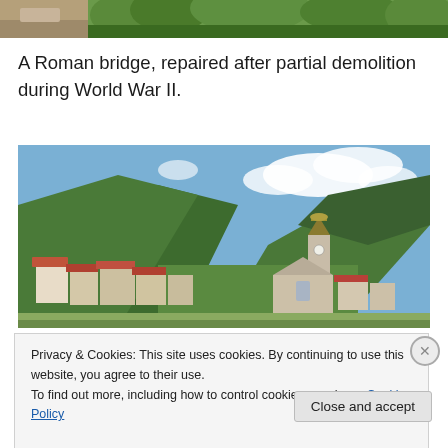[Figure (photo): Top portion of an outdoor image showing greenery and what appears to be a bridge or ground surface on the left side.]
A Roman bridge, repaired after partial demolition during World War II.
[Figure (photo): Photograph of an Italian Alpine village with traditional houses, a church with a bell tower topped with a gold dome, surrounded by green forested mountains under a partly cloudy sky.]
Privacy & Cookies: This site uses cookies. By continuing to use this website, you agree to their use.
To find out more, including how to control cookies, see here: Cookie Policy
Close and accept